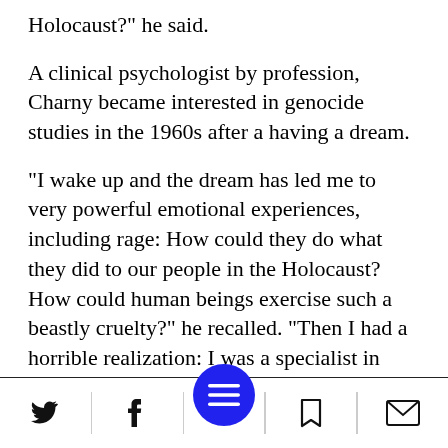Holocaust?" he said.
A clinical psychologist by profession, Charny became interested in genocide studies in the 1960s after a having a dream.
"I wake up and the dream has led me to very powerful emotional experiences, including rage: How could they do what they did to our people in the Holocaust? How could human beings exercise such a beastly cruelty?" he recalled. "Then I had a horrible realization: I was a specialist in human behavior, accredited from the best American educational and
Social share bar with Twitter, Facebook, menu, bookmark, and mail icons